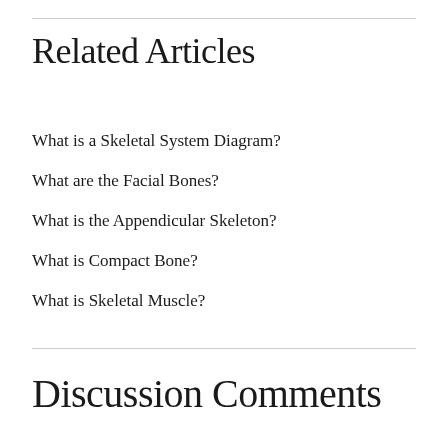Related Articles
What is a Skeletal System Diagram?
What are the Facial Bones?
What is the Appendicular Skeleton?
What is Compact Bone?
What is Skeletal Muscle?
Discussion Comments